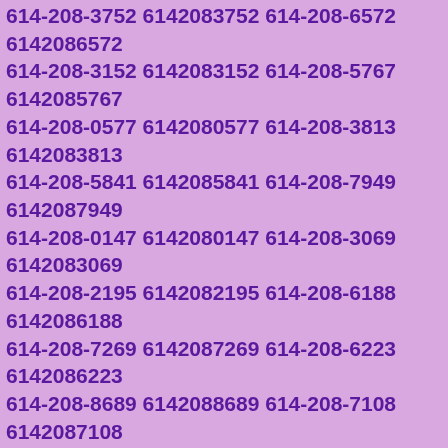614-208-3752 6142083752 614-208-6572 6142086572 614-208-3152 6142083152 614-208-5767 6142085767 614-208-0577 6142080577 614-208-3813 6142083813 614-208-5841 6142085841 614-208-7949 6142087949 614-208-0147 6142080147 614-208-3069 6142083069 614-208-2195 6142082195 614-208-6188 6142086188 614-208-7269 6142087269 614-208-6223 6142086223 614-208-8689 6142088689 614-208-7108 6142087108 614-208-6252 6142086252 614-208-7378 6142087378 614-208-1065 6142081065 614-208-6206 6142086206 614-208-3304 6142083304 614-208-1886 6142081886 614-208-5506 6142085506 614-208-0467 6142080467 614-208-3569 6142083569 614-208-6862 6142086862 614-208-2297 6142082297 614-208-0149 6142080149 614-208-0754 6142080754 614-208-6715 6142086715 614-208-7637 6142087637 614-208-7989 6142087989 614-208-6663 6142086663 614-208-0362 6142080362 614-208-7650 6142087650 614-208-7869 6142087869 614-208-8114 6142088114 614-208-0790 6142080790 614-208-5472 6142085472 614-208-4982 6142084982 614-208-4480 6142084480 614-208-8223 6142088223